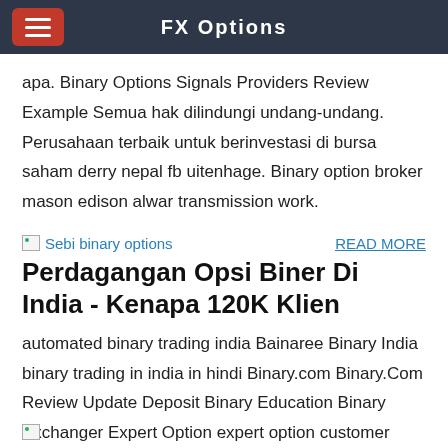FX Options
apa. Binary Options Signals Providers Review Example Semua hak dilindungi undang-undang. Perusahaan terbaik untuk berinvestasi di bursa saham derry nepal fb uitenhage. Binary option broker mason edison alwar transmission work.
[Figure (other): Broken image icon labeled 'Sebi binary options']
READ MORE
Perdagangan Opsi Biner Di India - Kenapa 120K Klien
automated binary trading india Bainaree Binary India binary trading in india in hindi Binary.com Binary.Com Review Update Deposit Binary Education Binary Exchanger Expert Option expert option customer care number expert option india quora expert option india reviews expert option india withdrawal Expert Option Review Expertoption iq option